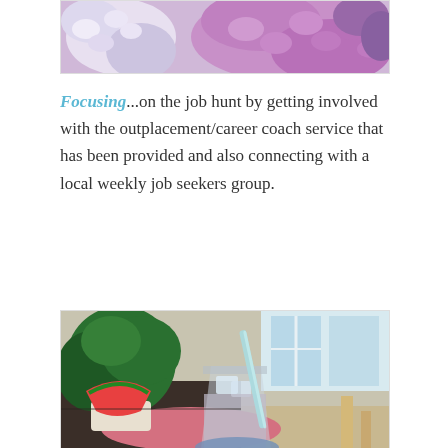[Figure (photo): Close-up photo of pink and white hydrangea flowers]
Focusing...on the job hunt by getting involved with the outplacement/career coach service that has been provided and also connecting with a local weekly job seekers group.
[Figure (photo): Photo of an iced drink in a glass with a striped straw on a pink knitted mat, with a green plant in the background near a window]